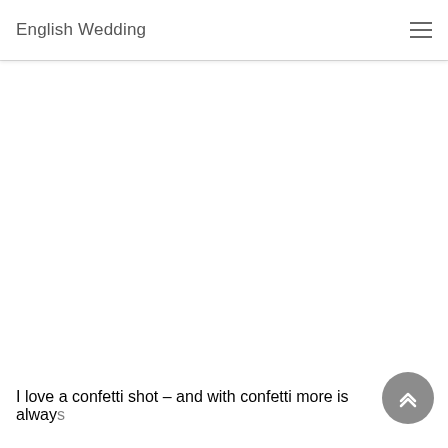English Wedding
[Figure (other): Blank white content area representing a webpage screenshot with no image loaded]
I love a confetti shot – and with confetti more is always